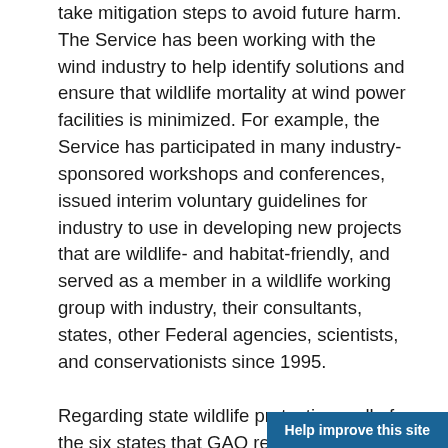take mitigation steps to avoid future harm. The Service has been working with the wind industry to help identify solutions and ensure that wildlife mortality at wind power facilities is minimized. For example, the Service has participated in many industry-sponsored workshops and conferences, issued interim voluntary guidelines for industry to use in developing new projects that are wildlife- and habitat-friendly, and served as a member in a wildlife working group with industry, their consultants, states, other Federal agencies, scientists, and conservationists since 1995.
Regarding state wildlife protections, all of the six states that GAO reviewed have statutes that can be used to protect some wildlife from wind power impacts. However, no states have taken any prosecutorial actions against wind power facilities and some wildlife mortalities have...